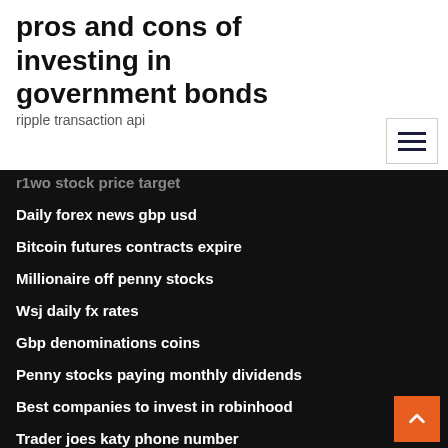pros and cons of investing in government bonds
ripple transaction api
r1wo stock price target
Daily forex news gbp usd
Bitcoin futures contracts expire
Millionaire off penny stocks
Wsj daily fx rates
Gbp denominations coins
Penny stocks paying monthly dividends
Best companies to invest in robinhood
Trader joes katy phone number